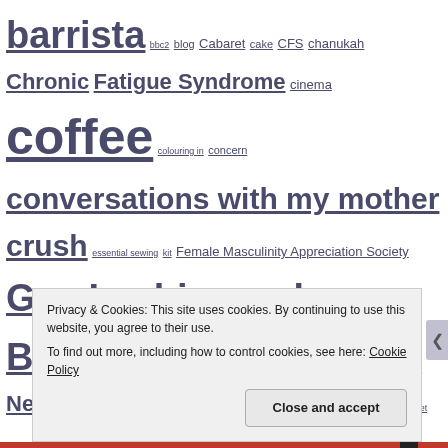barrista bbc2 blog Cabaret cake CFS chanukah Chronic Fatigue Syndrome cinema coffee colouring in concern conversations with my mother crush essential sewing kit Female Masculinity Appreciation Society Gay Lesbian and Bisexual gift shop glitter gorgeous views grief Happy New Year Health i am so excited in which 'D' yet again astounds me it's not a secret jam January latkes LGBT Llama London ME ME/CFS Mittens mother office politics Organizations out there poem poetry procrastination Queen Queer queer cinema queer community queer love queer writers retreat reading Screw work let's play Silver Jubilee smell of old chips
Privacy & Cookies: This site uses cookies. By continuing to use this website, you agree to their use. To find out more, including how to control cookies, see here: Cookie Policy
Close and accept